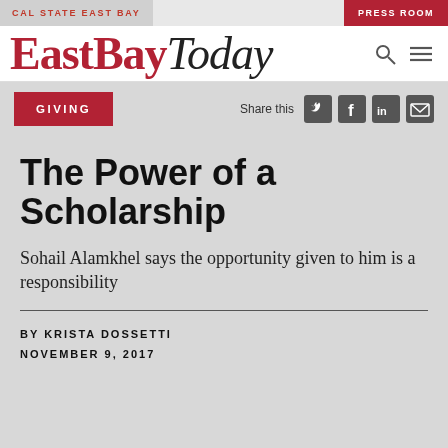CAL STATE EAST BAY
PRESS ROOM
EastBayToday
GIVING
Share this
The Power of a Scholarship
Sohail Alamkhel says the opportunity given to him is a responsibility
BY KRISTA DOSSETTI
NOVEMBER 9, 2017